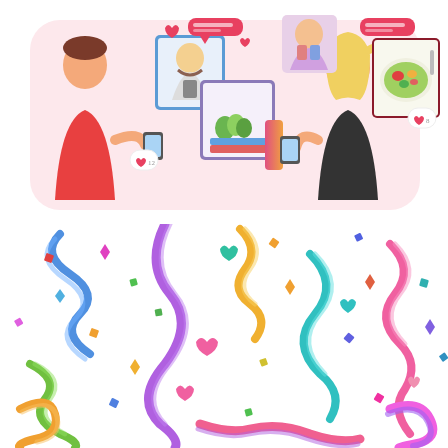[Figure (illustration): Flat style illustration of two people using smartphones with social media content around them - a man on the left in a red shirt scrolling through content including a bearded man's photo, plants, and books, and a woman on the right with blonde hair viewing a food/salad image. Heart icons, like notifications, and chat bubbles float between them on a pink background.]
[Figure (illustration): Colorful festive confetti and streamers illustration on white background. Curly ribbon streamers in purple, blue, green, pink, orange, and multicolor, along with heart shapes in pink and teal, small square confetti pieces in various colors scattered across the image.]